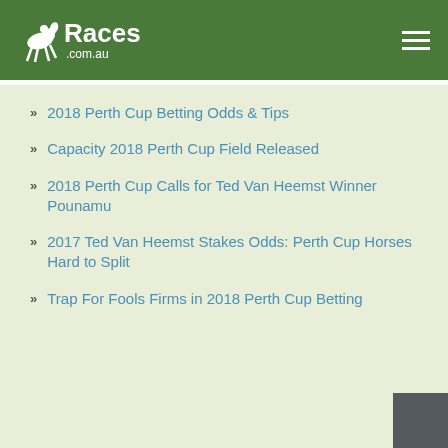[Figure (logo): Races.com.au logo with horse and rider silhouette on green header bar]
2018 Perth Cup Betting Odds & Tips
Capacity 2018 Perth Cup Field Released
2018 Perth Cup Calls for Ted Van Heemst Winner Pounamu
2017 Ted Van Heemst Stakes Odds: Perth Cup Horses Hard to Split
Trap For Fools Firms in 2018 Perth Cup Betting